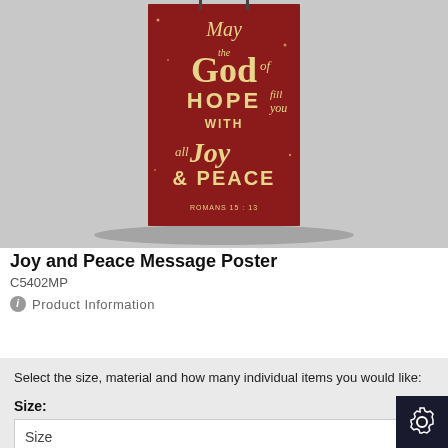[Figure (photo): Red poster with gold lettering reading 'May the God of Hope fill you with all Joy & Peace' with ROMANS 15:13 at bottom, displayed hanging against a gray background]
Joy and Peace Message Poster
C5402MP
Product Information
Select the size, material and how many individual items you would like:
Size:
Size
Material: